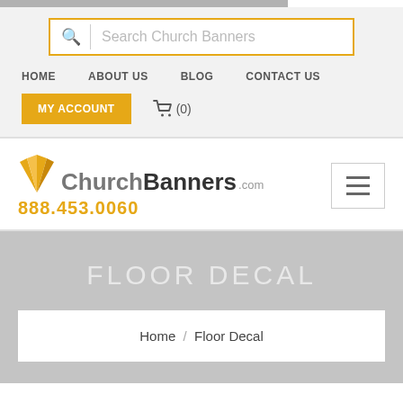Search Church Banners
HOME  ABOUT US  BLOG  CONTACT US
MY ACCOUNT  (0)
[Figure (logo): ChurchBanners.com logo with orange fan icon and phone number 888.453.0060]
FLOOR DECAL
Home / Floor Decal